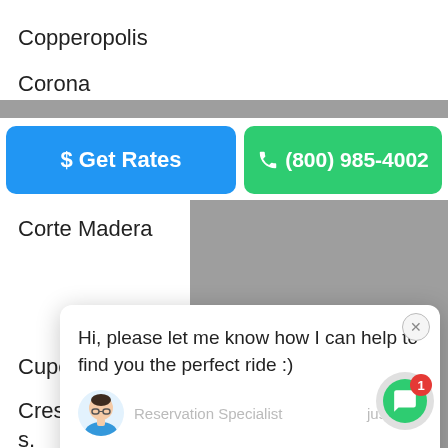Copperopolis
Corona
[Figure (screenshot): Blue 'Get Rates' button and green '(800) 985-4002' call button in a CTA bar]
Corte Madera
Costa Mesa
Cotati
Covina
Coyote
[Figure (screenshot): Chat popup with message 'Hi, please let me know how I can help to find you the perfect ride :)' from Reservation Specialist, just now, with input box]
Crest Park
Crestline
Culver
Cupertino
Cutler
Cutten
Cypress